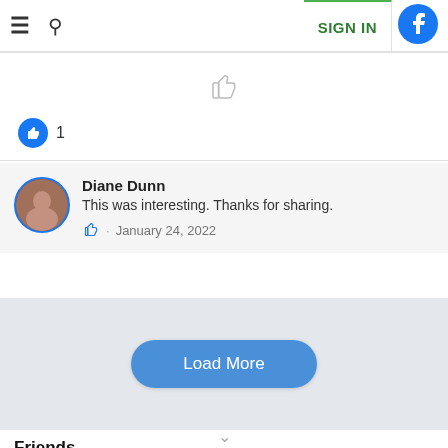SIGN IN
[Figure (illustration): Thumbs up icon (like button) centered, light gray outline style]
[Figure (illustration): Blue circle with white thumbs up icon followed by number 1]
Diane Dunn
This was interesting. Thanks for sharing.
January 24, 2022
Load More
Friends
Church History